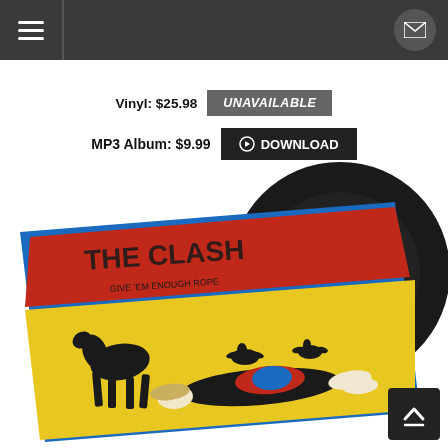Navigation bar with hamburger menu and mail icon
Vinyl: $25.98  UNAVAILABLE
MP3 Album: $9.99  DOWNLOAD
[Figure (photo): The Clash vinyl record album with colorful cover art (red, yellow, blue) showing Give 'Em Enough Rope, with a black vinyl record partially out of the sleeve against a white background.]
Back to top button